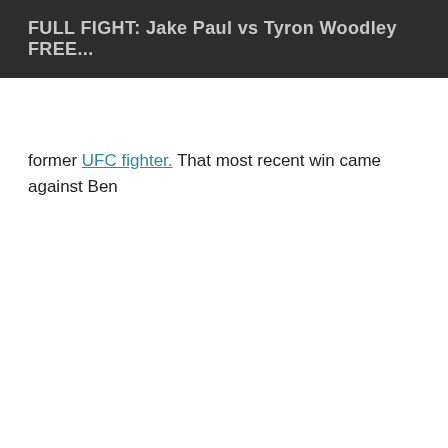FULL FIGHT: Jake Paul vs Tyron Woodley FREE...
former UFC fighter. That most recent win came against Ben